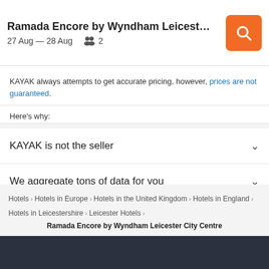Ramada Encore by Wyndham Leicester City ... | 27 Aug — 28 Aug | 2
KAYAK always attempts to get accurate pricing, however, prices are not guaranteed.
Here's why:
KAYAK is not the seller
We aggregate tons of data for you
Why aren't prices 100% accurate?
Hotels > Hotels in Europe > Hotels in the United Kingdom > Hotels in England > Hotels in Leicestershire > Leicester Hotels > Ramada Encore by Wyndham Leicester City Centre